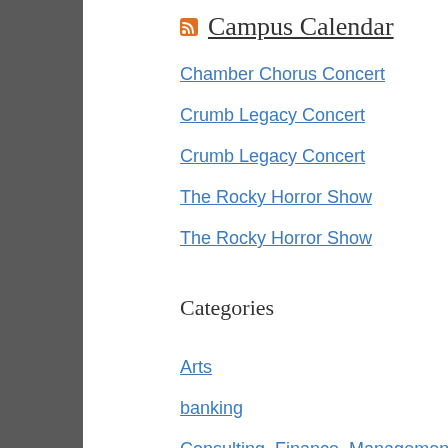Campus Calendar
Chamber Chorus Concert
Crumb Legacy Concert
Crumb Legacy Concert
The Rocky Horror Show
The Rocky Horror Show
Categories
Arts
banking
Consulting, Finance, Management, Human Resources & Leadership Programs
Diversity
Economics & Business
Education